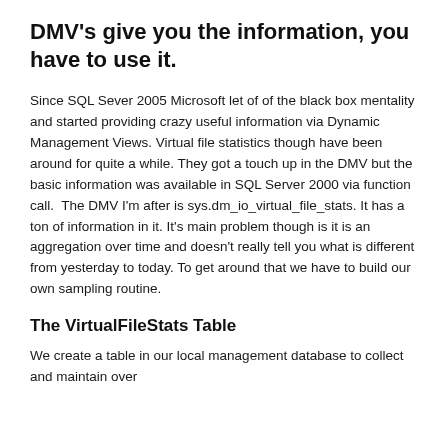DMV's give you the information, you have to use it.
Since SQL Sever 2005 Microsoft let of of the black box mentality and started providing crazy useful information via Dynamic Management Views. Virtual file statistics though have been around for quite a while. They got a touch up in the DMV but the basic information was available in SQL Server 2000 via function call.  The DMV I'm after is sys.dm_io_virtual_file_stats. It has a ton of information in it. It's main problem though is it is an aggregation over time and doesn't really tell you what is different from yesterday to today. To get around that we have to build our own sampling routine.
The VirtualFileStats Table
We create a table in our local management database to collect and maintain over...